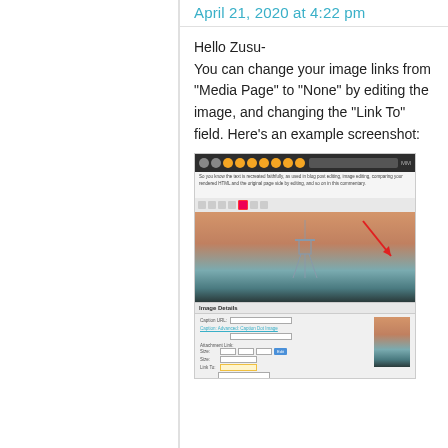April 21, 2020 at 4:22 pm
Hello Zusu-
You can change your image links from “Media Page” to “None” by editing the image, and changing the “Link To” field. Here’s an example screenshot:
[Figure (screenshot): A screenshot of a WordPress image editor interface showing an image of a beach watchtower at sunset, with a red arrow pointing to the Link To field. The bottom shows the Image Details panel with a thumbnail of the same image and form fields for link settings.]